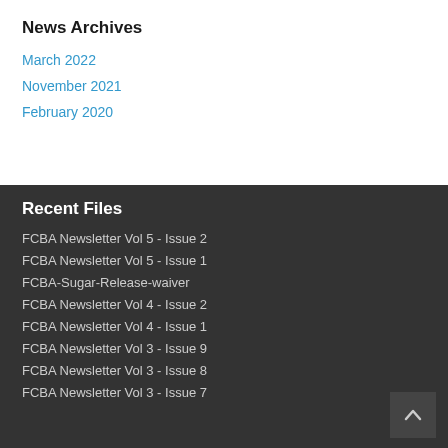News Archives
March 2022
November 2021
February 2020
Recent Files
FCBA Newsletter Vol 5 - Issue 2
FCBA Newsletter Vol 5 - Issue 1
FCBA-Sugar-Release-waiver
FCBA Newsletter Vol 4 - Issue 2
FCBA Newsletter Vol 4 - Issue 1
FCBA Newsletter Vol 3 - Issue 9
FCBA Newsletter Vol 3 - Issue 8
FCBA Newsletter Vol 3 - Issue 7